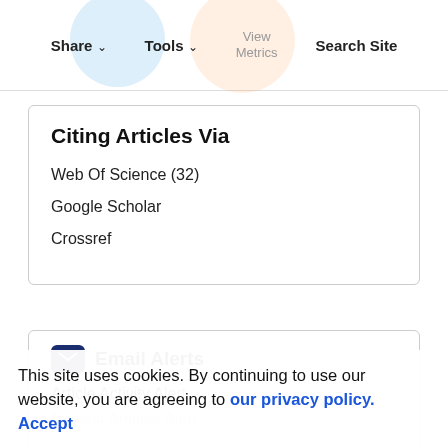Share | Tools | View Metrics | Search Site
Citing Articles Via
Web Of Science (32)
Google Scholar
Crossref
Email Alerts
Article Activity Alert
Newest Articles Alert
This site uses cookies. By continuing to use our website, you are agreeing to our privacy policy. Accept